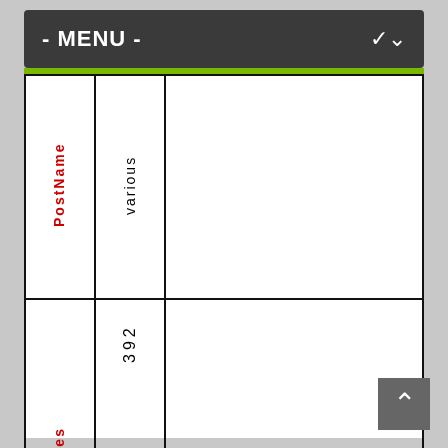- MENU -
| PostName | various | NoOfVacancies | 392 | PayScale | Level-10&12 |
| --- | --- | --- | --- | --- | --- |
| PostName | various |
| NoOfVacancies | 392 |
| PayScale | Level-10&12 |